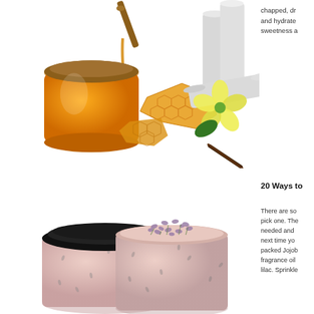[Figure (photo): Photo of honey jar, honeycomb pieces, lip balm tubes, vanilla flower and pod on white background]
chapped, dr and hydrate sweetness a
20 Ways to
[Figure (photo): Photo of two jars of pink body scrub/lotion, one with black lid closed and one open with dried lavender on top]
There are so pick one. The needed and next time yo packed Jojob fragrance oil lilac. Sprinkle